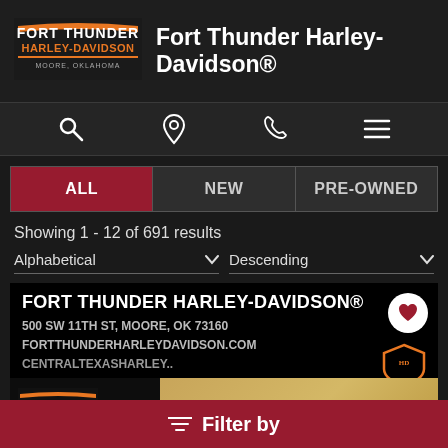[Figure (logo): Fort Thunder Harley-Davidson logo with orange and white text on dark background]
Fort Thunder Harley-Davidson®
[Figure (infographic): Navigation icon bar with search, location pin, phone, and menu icons]
ALL | NEW | PRE-OWNED tab bar, ALL selected
Showing 1 - 12 of 691 results
Alphabetical ▼   Descending ▼
[Figure (screenshot): Fort Thunder Harley-Davidson dealership banner card showing logo, address 500 SW 11TH ST, MOORE, OK 73160, website FORTTHUNDERHARLEYDAVIDSON.COM, CENTRALTEXASHARLEY.. text, Harley-Davidson shield logo, heart favorite button, and partial motorcycle image on tan/gold background]
≡ Filter by